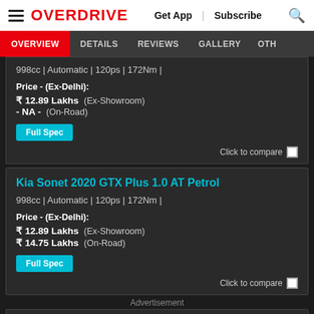OVERDRIVE | Get App | Subscribe
OVERVIEW | DETAILS | REVIEWS | GALLERY | OTH
998cc | Automatic | 120ps | 172Nm |
Price - (Ex-Delhi): ₹ 12.89 Lakhs (Ex-Showroom) - NA - (On-Road)
Full Spec
Click to compare
Kia Sonet 2020 GTX Plus 1.0 AT Petrol
998cc | Automatic | 120ps | 172Nm |
Price - (Ex-Delhi): ₹ 12.89 Lakhs (Ex-Showroom) ₹ 14.75 Lakhs (On-Road)
Full Spec
Click to compare
Advertisement
Kia So
1493c
Price - (Ex-Delhi):